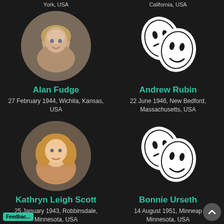York, USA
California, USA
[Figure (photo): Circular headshot of Alan Fudge, older bald male actor]
Alan Fudge
27 February 1944, Wichita, Kansas, USA
[Figure (illustration): Theater masks icon (comedy/tragedy) in white]
Andrew Rubin
22 June 1946, New Bedford, Massachusetts, USA
[Figure (photo): Circular headshot of Kathryn Leigh Scott, older blonde female actress]
Kathryn Leigh Scott
25 January 1943, Robbinsdale, Minnesota, USA
[Figure (illustration): Theater masks icon (comedy/tragedy) in white]
Bonnie Urseth
14 August 1951, Minneapolis, Minnesota, USA
Feedbac...